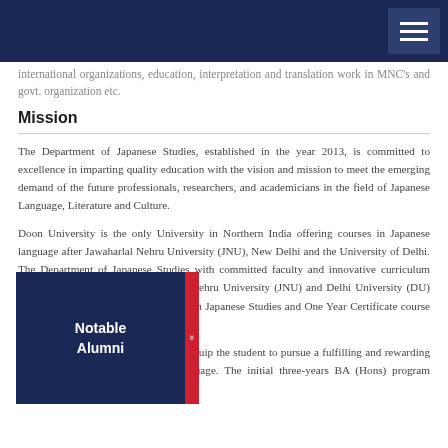international organizations, education, interpretation and translation work in MNC's and govt. organization etc.
Mission
The Department of Japanese Studies, established in the year 2013, is committed to excellence in imparting quality education with the vision and mission to meet the emerging demand of the future professionals, researchers, and academicians in the field of Japanese Language, Literature and Culture.
Doon University is the only University in Northern India offering courses in Japanese language after Jawaharlal Nehru University (JNU), New Delhi and the University of Delhi. The Department of Japanese Studies with committed faculty and innovative curriculum designed by experts from Jawaharlal Nehru University (JNU) and Delhi University (DU) offers five year MA Integrated course in Japanese Studies and One Year Certificate course in Japanese Language.
[Figure (infographic): Notable Alumni overlay box with dark navy blue background and red accent strip on the right]
The MA Integrated program, aims to equip the student to pursue a fulfilling and rewarding career in the field of Japanese Language. The initial three-years BA (Hons) program includes